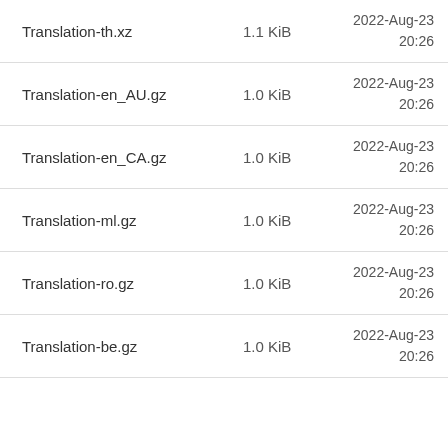| Name | Size | Date |
| --- | --- | --- |
| Translation-th.xz | 1.1 KiB | 2022-Aug-23
20:26 |
| Translation-en_AU.gz | 1.0 KiB | 2022-Aug-23
20:26 |
| Translation-en_CA.gz | 1.0 KiB | 2022-Aug-23
20:26 |
| Translation-ml.gz | 1.0 KiB | 2022-Aug-23
20:26 |
| Translation-ro.gz | 1.0 KiB | 2022-Aug-23
20:26 |
| Translation-be.gz | 1.0 KiB | 2022-Aug-23
20:26 |